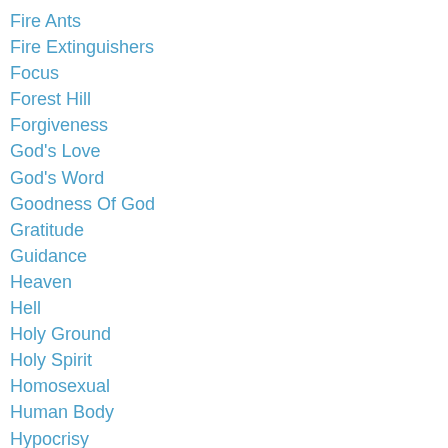Fire Ants
Fire Extinguishers
Focus
Forest Hill
Forgiveness
God's Love
God's Word
Goodness Of God
Gratitude
Guidance
Heaven
Hell
Holy Ground
Holy Spirit
Homosexual
Human Body
Hypocrisy
Jeremy Bentham
Jericho
Jesus
…